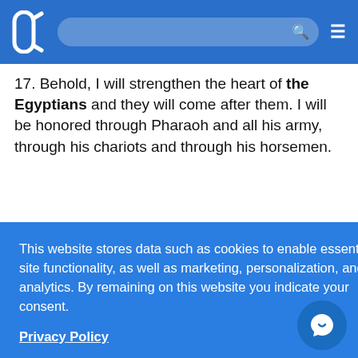[Navigation header with logo, search bar, and menu]
17. Behold, I will strengthen the heart of the Egyptians and they will come after them. I will be honored through Pharaoh and all his army, through his chariots and through his horsemen.
[partial text] ...em when I ...and his
[Figure (other): Cookie consent overlay banner with blue background]
This website stores data such as cookies to enable essential site functionality, as well as marketing, personalization, and analytics. By remaining on this website you indicate your consent.
Privacy Policy
[partial text] ...head of the ...them; the ...d it sto...
20. It came between the camp of the Egyptians and